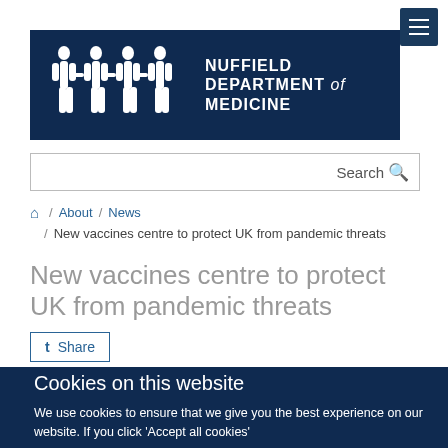[Figure (logo): Nuffield Department of Medicine logo with white human figure silhouettes on dark navy background]
Search
Home / About / News / New vaccines centre to protect UK from pandemic threats
New vaccines centre to protect UK from pandemic threats
Share
Cookies on this website
We use cookies to ensure that we give you the best experience on our website. If you click 'Accept all cookies'